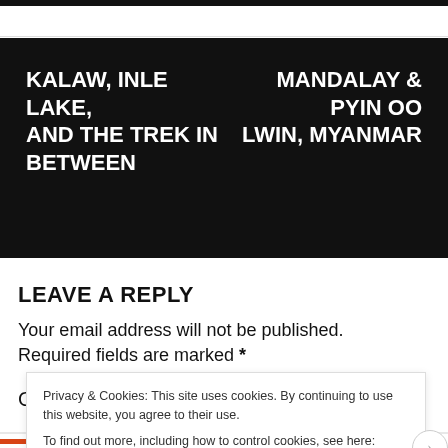[Figure (other): Black navigation banner with two column headings: left side 'KALAW, INLE LAKE, AND THE TREK IN BETWEEN', right side 'MANDALAY & PYIN OO LWIN, MYANMAR']
LEAVE A REPLY
Your email address will not be published. Required fields are marked *
Comment *
Privacy & Cookies: This site uses cookies. By continuing to use this website, you agree to their use.
To find out more, including how to control cookies, see here: Cookie Policy